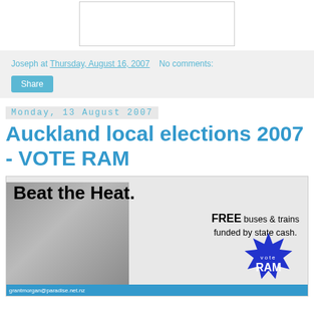[Figure (other): White rectangular box, likely a placeholder image at the top of the blog post]
Joseph at Thursday, August 16, 2007   No comments:
Share
Monday, 13 August 2007
Auckland local elections 2007 - VOTE RAM
[Figure (illustration): Election advertisement image with text 'Beat the Heat. FREE buses & trains funded by state cash. vote RAM' with a woman holding her head and a blue starburst badge]